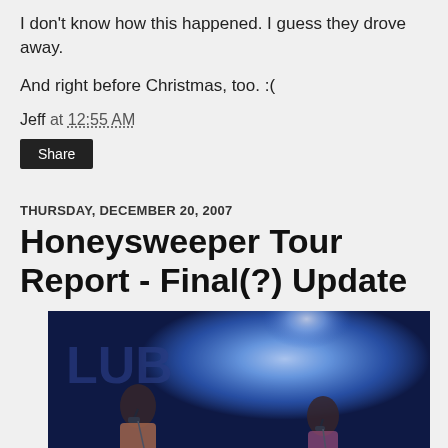I don't know how this happened. I guess they drove away.
And right before Christmas, too. :(
Jeff at 12:55 AM
Share
THURSDAY, DECEMBER 20, 2007
Honeysweeper Tour Report - Final(?) Update
[Figure (photo): Two women singing on stage with microphones under blue stage lighting, with 'LUB' visible in background signage.]